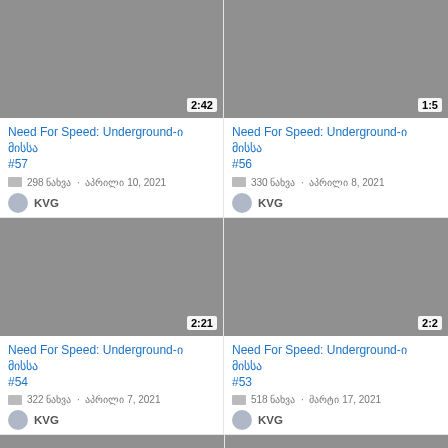[Figure (screenshot): Video thumbnail placeholder grey with duration 2:42]
Need For Speed: Underground-ი მისსა #57
298 ნახვა · აპრილი 10, 2021
KVG
[Figure (screenshot): Video thumbnail placeholder grey with duration 1:5x (partially visible)]
Need For Speed: Underground-ი მისსა #56
330 ნახვა · აპრილი 8, 2021
KVG
[Figure (screenshot): Video thumbnail placeholder grey with duration 2:21]
Need For Speed: Underground-ი მისსა #54
322 ნახვა · აპრილი 7, 2021
KVG
[Figure (screenshot): Video thumbnail placeholder grey with duration 2:2x (partially visible)]
Need For Speed: Underground-ი მისსა #53
518 ნახვა · მარტი 17, 2021
KVG